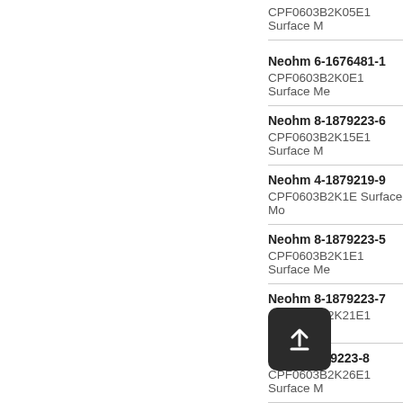CPF0603B2K05E1 Surface M
Neohm 6-1676481-1
CPF0603B2K0E1 Surface Me
Neohm 8-1879223-6
CPF0603B2K15E1 Surface M
Neohm 4-1879219-9
CPF0603B2K1E Surface Mo
Neohm 8-1879223-5
CPF0603B2K1E1 Surface Me
Neohm 8-1879223-7
CPF0603B2K21E1 Surface M
Neohm 8-1879223-8
CPF0603B2K26E1 Surface M
Neohm 8-1614881-9
CPF0603B2K2E Surface Mo
Neohm 8-1879191-8